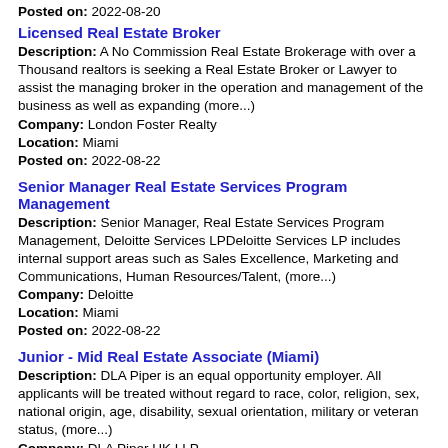Posted on: 2022-08-20
Licensed Real Estate Broker
Description: A No Commission Real Estate Brokerage with over a Thousand realtors is seeking a Real Estate Broker or Lawyer to assist the managing broker in the operation and management of the business as well as expanding (more...)
Company: London Foster Realty
Location: Miami
Posted on: 2022-08-22
Senior Manager Real Estate Services Program Management
Description: Senior Manager, Real Estate Services Program Management, Deloitte Services LPDeloitte Services LP includes internal support areas such as Sales Excellence, Marketing and Communications, Human Resources/Talent, (more...)
Company: Deloitte
Location: Miami
Posted on: 2022-08-22
Junior - Mid Real Estate Associate (Miami)
Description: DLA Piper is an equal opportunity employer. All applicants will be treated without regard to race, color, religion, sex, national origin, age, disability, sexual orientation, military or veteran status, (more...)
Company: DLA Piper UK LLP
Location: Miami